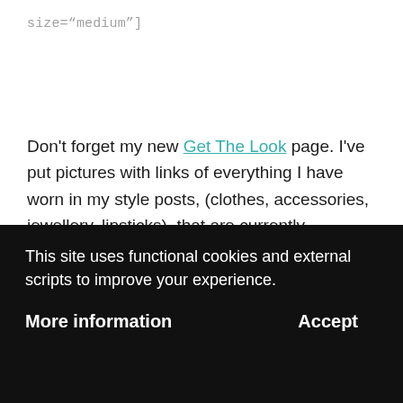size="medium"]
Don't forget my new Get The Look page. I've put pictures with links of everything I have worn in my style posts, (clothes, accessories, jewellery, lipsticks), that are currently available to buy.  This page saves you trawling through the archives if you've seen something you like in a previous post and want to know if it's still available.
This site uses functional cookies and external scripts to improve your experience.
More information
Accept